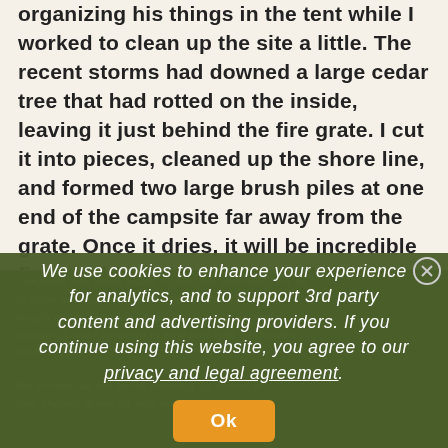organizing his things in the tent while I worked to clean up the site a little. The recent storms had downed a large cedar tree that had rotted on the inside, leaving it just behind the fire grate. I cut it into pieces, cleaned up the shore line, and formed two large brush piles at one end of the campsite far away from the grate. Once it dries, it will be incredible firewood for this site. I pulled the trunk of the fallen cedar over to the fire pit area and created a back rest for the logs that already were there. The
campsite was soon neatly organized and ready for us ... length of dry red pine I found in the woods and brought it back to camp to saw and split as needed f... No sooner did we finish cleaning up before a rain shower drove us into our tent, where...
We use cookies to enhance your experience for analytics, and to support 3rd party content and advertising providers. If you continue using this website, you agree to our privacy and legal agreement.